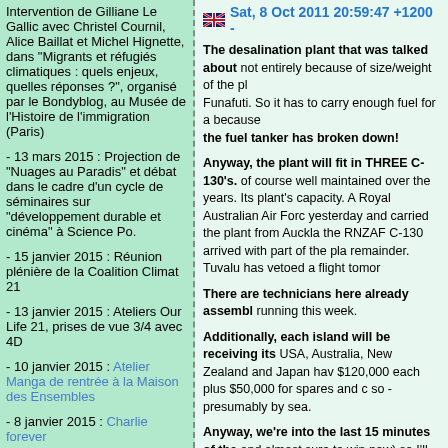Intervention de Gilliane Le Gallic avec Christel Cournil, Alice Baillat et Michel Hignette, dans "Migrants et réfugiés climatiques : quels enjeux, quelles réponses ?", organisé par le Bondyblog, au Musée de l'Histoire de l'immigration (Paris)
- 13 mars 2015 : Projection de "Nuages au Paradis" et débat dans le cadre d'un cycle de séminaires sur "développement durable et cinéma" à Science Po.
- 15 janvier 2015 : Réunion plénière de la Coalition Climat 21
- 13 janvier 2015 : Ateliers Our Life 21, prises de vue 3/4 avec 4D
- 10 janvier 2015 : Atelier Manga de rentrée à la Maison des Ensembles
- 8 janvier 2015 : Charlie forever
2014
- 6, 13 et 20 décembre 2014 : ateliers Manga à la Maison des Ensembles
Sat, 8 Oct 2011 20:59:47 +1200 -
The desalination plant that was talked about not entirely because of size/weight of the plant Funafuti. So it has to carry enough fuel for a because the fuel tanker has broken down!
Anyway, the plant will fit in THREE C-130's. of course well maintained over the years. Its plant's capacity. A Royal Australian Air Force yesterday and carried the plant from Auckland the RNZAF C-130 arrived with part of the plant remainder. Tuvalu has vetoed a flight tomorrow
There are technicians here already assembling running this week.
Additionally, each island will be receiving its USA, Australia, New Zealand and Japan have $120,000 each plus $50,000 for spares and d so - presumably by sea.
Anyway, we're into the last 15 minutes of the and almost sure to win now) so I'll say good
"Maori, leurs trésors ont une âm
Alofa Tuvalu recommande:
L'exposition "Maori, leurs trésors ont une â au 22 janvier 2012 conçue et réalisée par Te L'exposition a été installée en une quinzaine Beau, Nice, la Palais, entre autres.